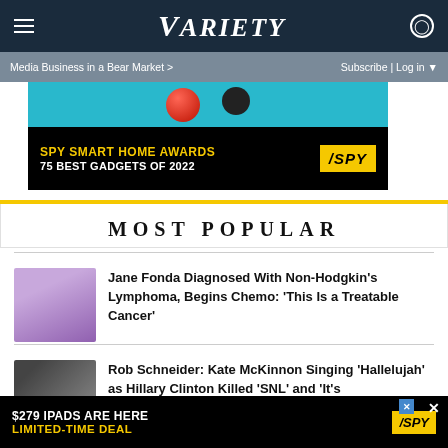Variety
Media Business in a Bear Market >
Subscribe | Log in
[Figure (photo): SPY Smart Home Awards advertisement banner - 75 Best Gadgets of 2022]
MOST POPULAR
Jane Fonda Diagnosed With Non-Hodgkin's Lymphoma, Begins Chemo: ‘This Is a Treatable Cancer’
Rob Schneider: Kate McKinnon Singing ‘Hallelujah’ as Hillary Clinton Killed ‘SNL’ and ‘It’s
[Figure (photo): $279 iPads Are Here Limited-Time Deal SPY advertisement banner]